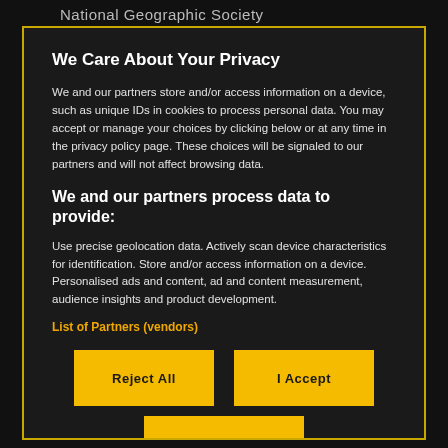National Geographic Society
We Care About Your Privacy
We and our partners store and/or access information on a device, such as unique IDs in cookies to process personal data. You may accept or manage your choices by clicking below or at any time in the privacy policy page. These choices will be signaled to our partners and will not affect browsing data.
We and our partners process data to provide:
Use precise geolocation data. Actively scan device characteristics for identification. Store and/or access information on a device. Personalised ads and content, ad and content measurement, audience insights and product development.
List of Partners (vendors)
Reject All
I Accept
Show Purposes